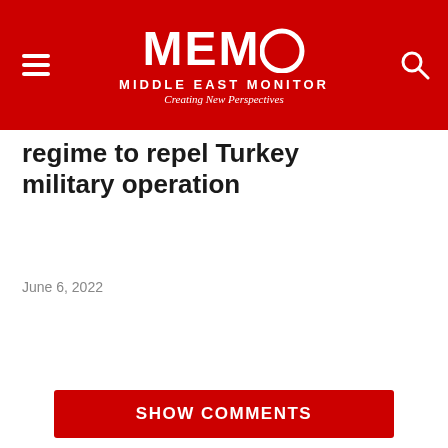MEMO MIDDLE EAST MONITOR — Creating New Perspectives
regime to repel Turkey military operation
June 6, 2022
[Figure (illustration): Writing Palestine book advertisement banner with two books shown on a light background, with text 'Writing Palestine', 'Celebrating the tenth year of the Palestine Book Awards', and 'Order Now']
SHOW COMMENTS